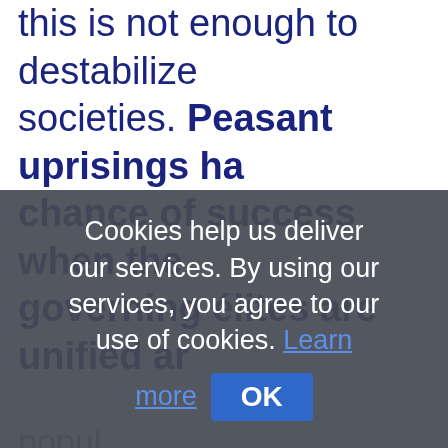this is not enough to destabilize societies. Peasant uprisings have a chance of success when the governing élites are unified ar...
Cookies help us deliver our services. By using our services, you agree to our use of cookies. Learn more
OK
The connection between popul... dynamics and instability is su... im... popul... social su...